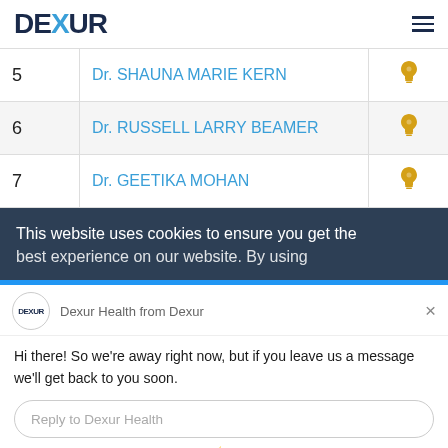DEXUR
| Rank | Name | Icon |
| --- | --- | --- |
| 5 | Dr. SHAUNA MARIE KERN | bulb |
| 6 | Dr. RUSSELL LARRY BEAMER | bulb |
| 7 | Dr. GEETIKA MOHAN | bulb |
This website uses cookies to ensure you get [the] best experience on our website. By using
Dexur Health from Dexur
Hi there! So we’re away right now, but if you leave us a message we’ll get back to you soon.
Reply to Dexur Health
Chat ⚡ by Drift